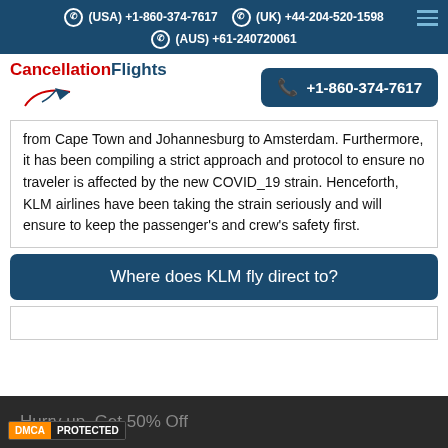(USA) +1-860-374-7617  (UK) +44-204-520-1598  (AUS) +61-240720061
[Figure (logo): CancellationFlights logo with airplane icon in red and dark blue, alongside a dark blue call button showing +1-860-374-7617]
from Cape Town and Johannesburg to Amsterdam. Furthermore, it has been compiling a strict approach and protocol to ensure no traveler is affected by the new COVID_19 strain. Henceforth, KLM airlines have been taking the strain seriously and will ensure to keep the passenger's and crew's safety first.
Where does KLM fly direct to?
Hurry up, Get 50% Off
DMCA PROTECTED